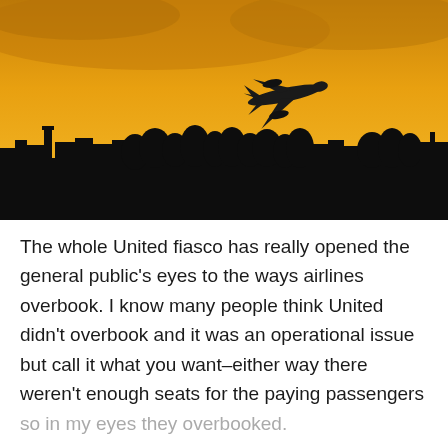[Figure (photo): Silhouette of an airplane taking off against a vivid golden-yellow sunset sky, with dark cityscape/treeline silhouette in the lower portion of the image.]
The whole United fiasco has really opened the general public’s eyes to the ways airlines overbook. I know many people think United didn’t overbook and it was an operational issue but call it what you want–either way there weren’t enough seats for the paying passengers so in my eyes they overbooked.